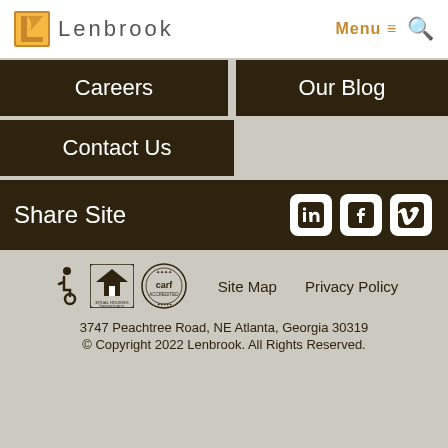[Figure (logo): Lenbrook logo with golden L icon and 'Lenbrook' text, plus Menu and search icons on the right]
Careers
Our Blog
Contact Us
Share Site
[Figure (illustration): Social media icons: LinkedIn, Facebook, Vimeo in white rounded squares on dark brown background]
[Figure (illustration): Accessibility icon, Equal Housing Opportunity logo, and CARF accredited seal]
Site Map
Privacy Policy
3747 Peachtree Road, NE Atlanta, Georgia 30319
© Copyright 2022 Lenbrook. All Rights Reserved.